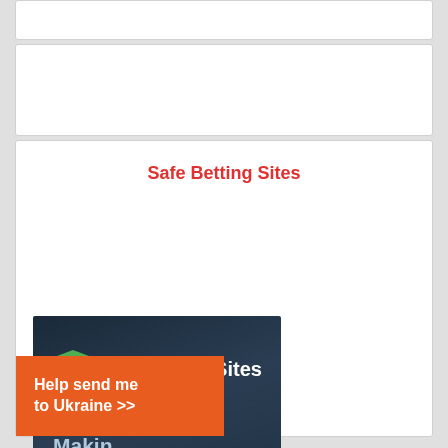[Figure (screenshot): Top white card area (blank/ad placeholder)]
[Figure (screenshot): Middle white card area (blank/ad placeholder)]
Safe Betting Sites
[Figure (screenshot): SafeBettingSites.com logo image with dark blue background showing shield checkmark logo, site name 'SafeBettingSites', and partial text 'Fighti... Makin...' overlaid by a popup showing 'Derek Carr A Long Shot Bet To Win This...' with NFL MVP Odds table listing players: .LEN +700, J. BURROW +1200, P. MAHOMES +800, D. PRESCOTT +1400, T. BRADY +800, R. WILSON +1400, J. HERBERT +900, M. STAFFORD +1400, A. RODGERS +1000, L. JACKSON +2000. An orange 'Help send me... to Ukraine >>' banner is in the bottom left.]